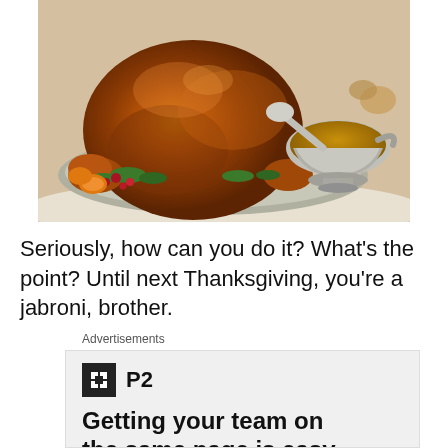[Figure (photo): A roasted Thanksgiving turkey on a platter with herbs, cranberries, and orange slices, with a gravy boat to the right]
Seriously, how can you do it? What's the point? Until next Thanksgiving, you're a jabroni, brother.
Advertisements
[Figure (screenshot): Advertisement for P2 — 'Getting your team on the same page is easy']